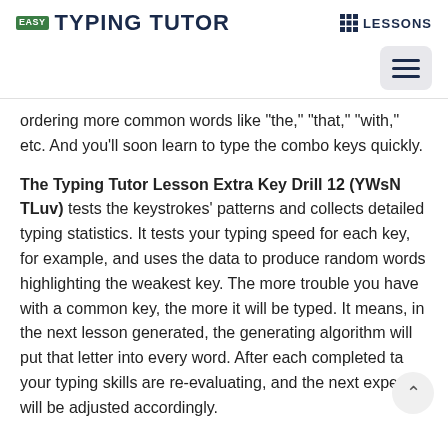EASY TYPING TUTOR  ⊞ LESSONS
ordering more common words like "the," "that," "with," etc. And you'll soon learn to type the combo keys quickly.
The Typing Tutor Lesson Extra Key Drill 12 (YWsN TLuv) tests the keystrokes' patterns and collects detailed typing statistics. It tests your typing speed for each key, for example, and uses the data to produce random words highlighting the weakest key. The more trouble you have with a common key, the more it will be typed. It means, in the next lesson generated, the generating algorithm will put that letter into every word. After each completed ta your typing skills are re-evaluating, and the next experie. will be adjusted accordingly.